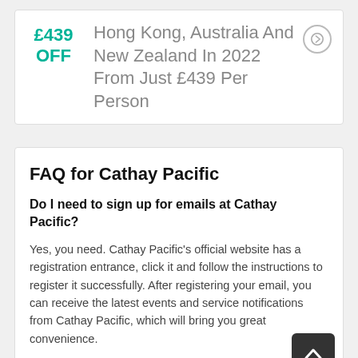£439 OFF
Hong Kong, Australia And New Zealand In 2022 From Just £439 Per Person
FAQ for Cathay Pacific
Do I need to sign up for emails at Cathay Pacific?
Yes, you need. Cathay Pacific's official website has a registration entrance, click it and follow the instructions to register it successfully. After registering your email, you can receive the latest events and service notifications from Cathay Pacific, which will bring you great convenience.
Does Cathay Pacific have a student…